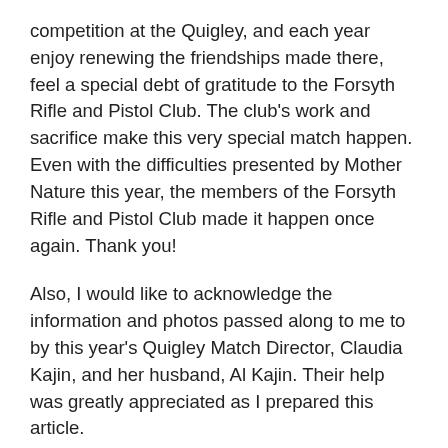competition at the Quigley, and each year enjoy renewing the friendships made there, feel a special debt of gratitude to the Forsyth Rifle and Pistol Club. The club's work and sacrifice make this very special match happen. Even with the difficulties presented by Mother Nature this year, the members of the Forsyth Rifle and Pistol Club made it happen once again. Thank you!
Also, I would like to acknowledge the information and photos passed along to me to by this year's Quigley Match Director, Claudia Kajin, and her husband, Al Kajin. Their help was greatly appreciated as I prepared this article.
Now, allow me one last personal note: On one of the practice days just prior to this year's Quigley weekend, my friend Corky Atkinson and I spotted Al Lee at the range. It was Al's vision that helped initiate the Quigley Match and, as mentioned earlier, it is on his ranch that the match itself is held. While we talked with him, I couldn't help but